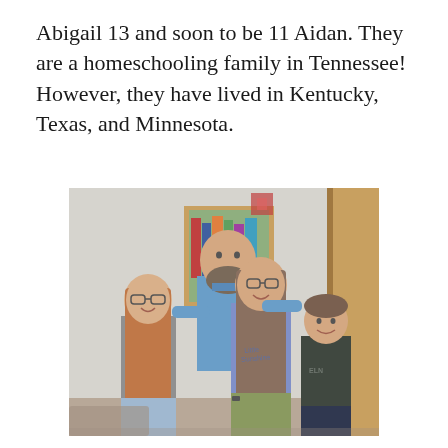Abigail 13 and soon to be 11 Aidan. They are a homeschooling family in Tennessee! However, they have lived in Kentucky, Texas, and Minnesota.
[Figure (photo): A family of four posing indoors. A tall bearded man stands in the back center. In front from left to right: a young girl with long reddish hair and glasses wearing a grey dotted shirt, a teenage girl with long hair and glasses wearing a blue t-shirt and olive pants, and a young boy in a dark t-shirt. A wooden cabinet is visible in the background.]